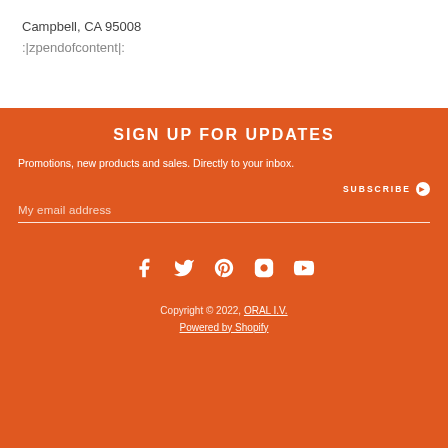Campbell, CA 95008
:|zpendofcontent|:
SIGN UP FOR UPDATES
Promotions, new products and sales. Directly to your inbox.
SUBSCRIBE ▶
My email address
[Figure (illustration): Social media icons: Facebook, Twitter, Pinterest, Instagram, YouTube]
Copyright © 2022, ORAL I.V.. Powered by Shopify